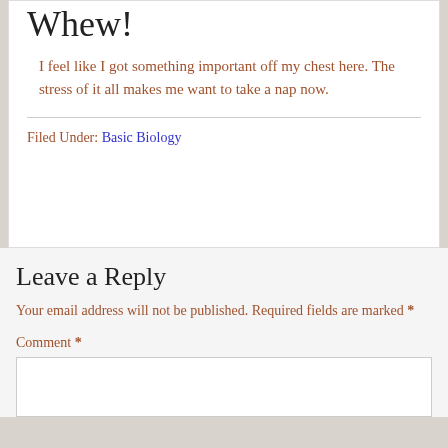Whew!
I feel like I got something important off my chest here. The stress of it all makes me want to take a nap now.
Filed Under: Basic Biology
Leave a Reply
Your email address will not be published. Required fields are marked *
Comment *